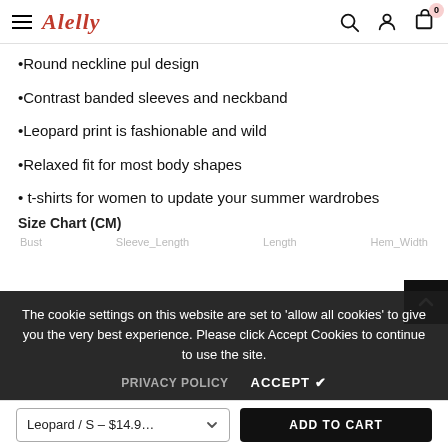Alelly — navigation header with hamburger menu, logo, search, account, and cart icons
•Round neckline pul design
•Contrast banded sleeves and neckband
•Leopard print is fashionable and wild
•Relaxed fit for most body shapes
• t-shirts for women to update your summer wardrobes
Size Chart (CM)
Bust   Sleeve_Length   Length   Hem_Width
The cookie settings on this website are set to 'allow all cookies' to give you the very best experience. Please click Accept Cookies to continue to use the site.
PRIVACY POLICY   ACCEPT ✔
Leopard / S – $14.9...   ADD TO CART